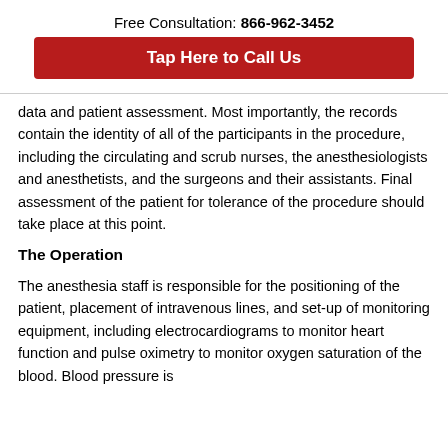Free Consultation: 866-962-3452
[Figure (other): Red button: Tap Here to Call Us]
data and patient assessment. Most importantly, the records contain the identity of all of the participants in the procedure, including the circulating and scrub nurses, the anesthesiologists and anesthetists, and the surgeons and their assistants. Final assessment of the patient for tolerance of the procedure should take place at this point.
The Operation
The anesthesia staff is responsible for the positioning of the patient, placement of intravenous lines, and set-up of monitoring equipment, including electrocardiograms to monitor heart function and pulse oximetry to monitor oxygen saturation of the blood. Blood pressure is